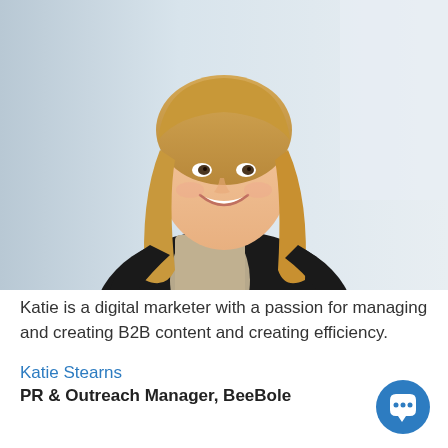[Figure (photo): Professional headshot of a smiling blonde woman wearing a black top with a textured vest, photographed against a light blue-grey background]
Katie is a digital marketer with a passion for managing and creating B2B content and creating efficiency.
Katie Stearns
PR & Outreach Manager, BeeBole